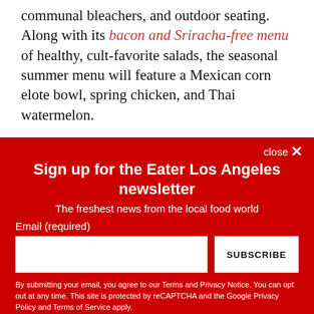communal bleachers, and outdoor seating. Along with its bacon and Sriracha-free menu of healthy, cult-favorite salads, the seasonal summer menu will feature a Mexican corn elote bowl, spring chicken, and Thai watermelon.
Sign up for the Eater Los Angeles newsletter
The freshest news from the local food world
Email (required)
SUBSCRIBE
By submitting your email, you agree to our Terms and Privacy Notice. You can opt out at any time. This site is protected by reCAPTCHA and the Google Privacy Policy and Terms of Service apply.